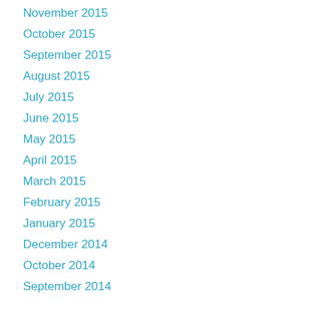November 2015
October 2015
September 2015
August 2015
July 2015
June 2015
May 2015
April 2015
March 2015
February 2015
January 2015
December 2014
October 2014
September 2014